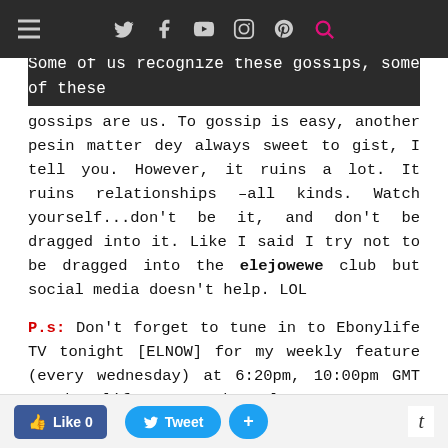Navigation bar with hamburger menu and social icons (Twitter, Facebook, YouTube, Instagram, Pinterest, Search)
Some of us recognize these gossips, some of these gossips are us. To gossip is easy, another pesin matter dey always sweet to gist, I tell you. However, it ruins a lot. It ruins relationships –all kinds. Watch yourself...don't be it, and don't be dragged into it. Like I said I try not to be dragged into the elejowewe club but social media doesn't help. LOL
P.s: Don't forget to tune in to Ebonylife TV tonight [ELNOW] for my weekly feature (every wednesday) at 6:20pm, 10:00pm GMT on EbonylifeTV DsTV Channel 165.
Have a great day!
-Sisi Yemmie
Like 0  Tweet  +  t